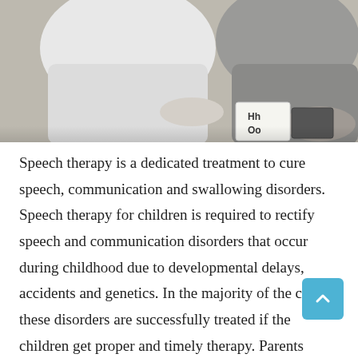[Figure (photo): A child and adult sitting on carpet engaging with alphabet flashcards (letters 'Hh' and 'Oo' visible), depicting a speech therapy session.]
Speech therapy is a dedicated treatment to cure speech, communication and swallowing disorders. Speech therapy for children is required to rectify speech and communication disorders that occur during childhood due to developmental delays, accidents and genetics. In the majority of the cases, these disorders are successfully treated if the children get proper and timely therapy. Parents should be observant about their child's speech and should consult a Speech-Language Pathologist, also commonly called, Speech Therapist at the earliest and get the disorder diagnosed.